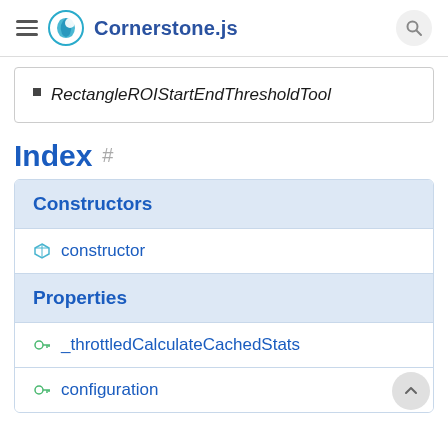Cornerstone.js
RectangleROIStartEndThresholdTool
Index #
| Constructors |
| --- |
| constructor |
| Properties |
| _throttledCalculateCachedStats |
| configuration |
constructor
Properties
_throttledCalculateCachedStats
configuration